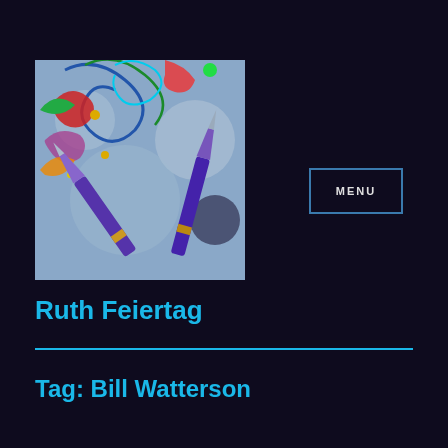[Figure (illustration): Square image showing colorful ornate floral/scroll illustration with fountain pen nibs in the foreground against a bokeh background]
MENU
Ruth Feiertag
Tag: Bill Watterson